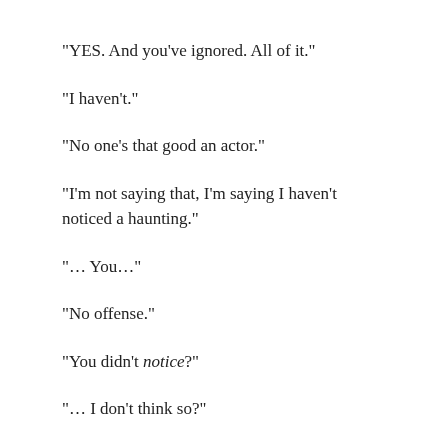“YES. And you’ve ignored. All of it.”
“I haven’t.”
“No one’s that good an actor.”
“I’m not saying that, I’m saying I haven’t noticed a haunting.”
“… You…”
“No offense.”
“You didn’t notice?”
“… I don’t think so?”
“ I’ve been randomly shifting furniture around your rooms